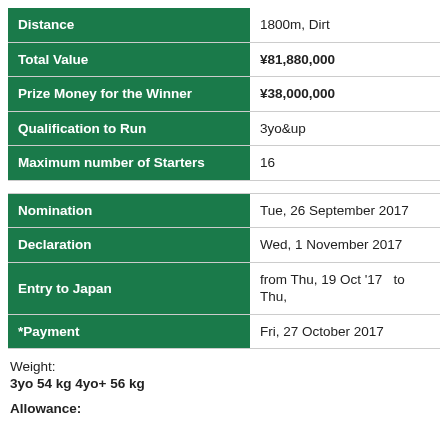| Field | Value |
| --- | --- |
| Distance | 1800m, Dirt |
| Total Value | ¥81,880,000 |
| Prize Money for the Winner | ¥38,000,000 |
| Qualification to Run | 3yo&up |
| Maximum number of Starters | 16 |
| Nomination | Tue, 26 September 2017 |
| Declaration | Wed, 1 November 2017 |
| Entry to Japan | from Thu, 19 Oct '17   to Thu, |
| *Payment | Fri, 27 October 2017 |
Weight:
3yo 54 kg 4yo+ 56 kg
Allowance: